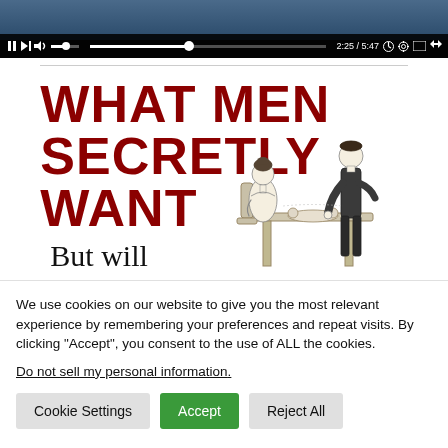[Figure (screenshot): Video player showing a paused video at 2:25 / 5:47 with playback controls including pause, next, volume, progress bar, and settings icons]
[Figure (illustration): Book cover image showing 'WHAT MEN SECRETLY WANT But will never' in large dark red bold text, with a vintage illustration of a man and woman at a dining table on the right side]
We use cookies on our website to give you the most relevant experience by remembering your preferences and repeat visits. By clicking “Accept”, you consent to the use of ALL the cookies.
Do not sell my personal information.
Cookie Settings   Accept   Reject All